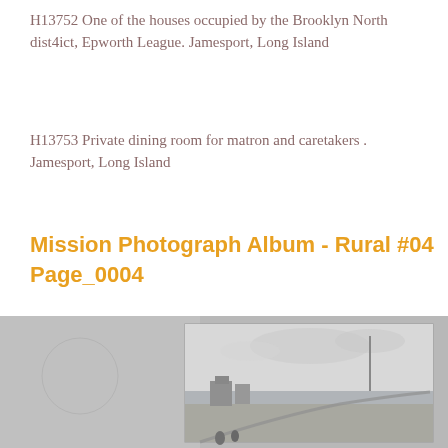H13752 One of the houses occupied by the Brooklyn North dist4ict, Epworth League. Jamesport, Long Island
H13753 Private dining room for matron and caretakers . Jamesport, Long Island
Mission Photograph Album - Rural #04 Page_0004
[Figure (photo): Black and white photograph of a coastal scene with buildings near the shore and water in the background, mounted on an album page.]